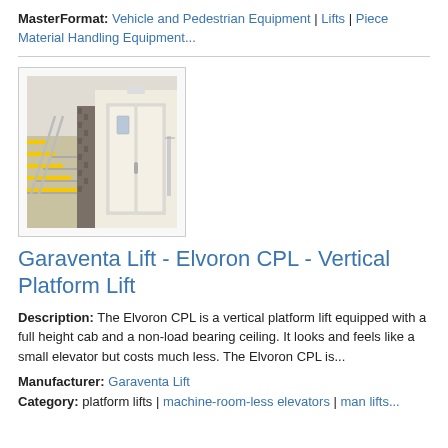MasterFormat: Vehicle and Pedestrian Equipment | Lifts | Piece Material Handling Equipment...
[Figure (photo): Photo of a vertical platform lift with white enclosure doors and a stone/masonry exterior, with yellow-edged stairs visible to the left.]
Garaventa Lift - Elvoron CPL - Vertical Platform Lift
Description: The Elvoron CPL is a vertical platform lift equipped with a full height cab and a non-load bearing ceiling. It looks and feels like a small elevator but costs much less. The Elvoron CPL is...
Manufacturer: Garaventa Lift
Category: platform lifts | machine-room-less elevators | man lifts...